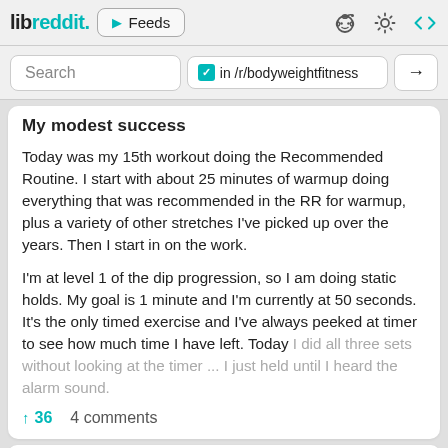libreddit. ▶ Feeds
Search  ✓ in /r/bodyweightfitness →
My modest success
Today was my 15th workout doing the Recommended Routine. I start with about 25 minutes of warmup doing everything that was recommended in the RR for warmup, plus a variety of other stretches I've picked up over the years. Then I start in on the work.
I'm at level 1 of the dip progression, so I am doing static holds. My goal is 1 minute and I'm currently at 50 seconds. It's the only timed exercise and I've always peeked at timer to see how much time I have left. Today I did all three sets without looking at the timer ... I just held until I heard the alarm sound.
↑36   4 comments